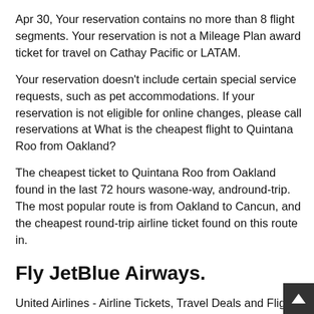prices, and book with confidence.
Apr 30, Your reservation contains no more than 8 flight segments. Your reservation is not a Mileage Plan award ticket for travel on Cathay Pacific or LATAM.
Your reservation doesn't include certain special service requests, such as pet accommodations. If your reservation is not eligible for online changes, please call reservations at What is the cheapest flight to Quintana Roo from Oakland?
The cheapest ticket to Quintana Roo from Oakland found in the last 72 hours wasone-way, andround-trip. The most popular route is from Oakland to Cancun, and the cheapest round-trip airline ticket found on this route in.
Fly JetBlue Airways.
United Airlines - Airline Tickets, Travel Deals and Flights If you're seeing this message, that means JavaScript has been disabled on your browser, please enable JS. Find low fares to top destinations on the official Southwest Airlines website. Book f